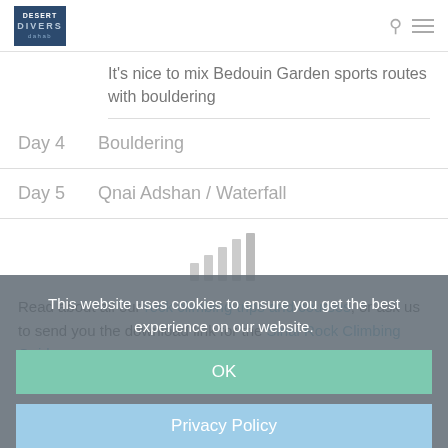Desert Divers Dahab
It's nice to mix Bedouin Garden sports routes with bouldering
Day 4   Bouldering
Day 5   Qnai Adshan / Waterfall
[Figure (other): Signal bars / mobile reception icon in light gray]
Read about all our rock climbing trips and courses, or ask us to send you the download link for the Sinai Rock Climbing Guide
This website uses cookies to ensure you get the best experience on our website.
OK
Privacy Policy
Select a date